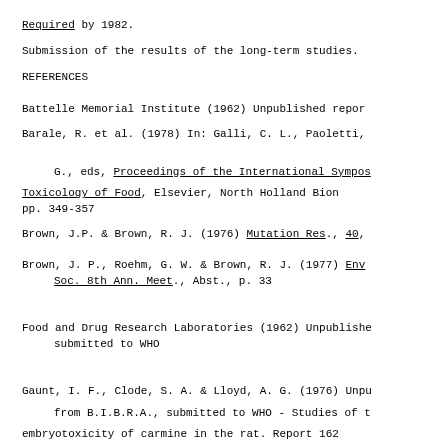Required by 1982.
Submission of the results of the long-term studies.
REFERENCES
Battelle Memorial Institute (1962) Unpublished report
Barale, R. et al. (1978) In: Galli, C. L., Paoletti, G., eds, Proceedings of the International Symposium on Toxicology of Food, Elsevier, North Holland Biomedical, pp. 349-357
Brown, J.P. & Brown, R. J. (1976) Mutation Res., 40,
Brown, J. P., Roehm, G. W. & Brown, R. J. (1977) Env... Soc. 8th Ann. Meet., Abst., p. 33
Food and Drug Research Laboratories (1962) Unpublished report submitted to WHO
Gaunt, I. F., Clode, S. A. & Lloyd, A. G. (1976) Unpublished report from B.I.B.R.A., submitted to WHO - Studies of the embryotoxicity of carmine in the rat. Report 162...
Grant, D., Conning, D. M. & Hawkins, R. I. (1979) Unpublished report from B.I.B.R.A., submitted to WHO - Multigeneration studies in rats with carmine of cochineal. Report... December 1979